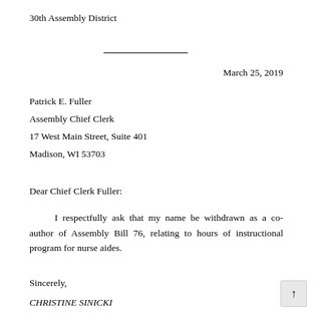30th Assembly District
March 25, 2019
Patrick E. Fuller
Assembly Chief Clerk
17 West Main Street, Suite 401
Madison, WI 53703
Dear Chief Clerk Fuller:
I respectfully ask that my name be withdrawn as a co-author of Assembly Bill 76, relating to hours of instructional program for nurse aides.
Sincerely,
CHRISTINE SINICKI